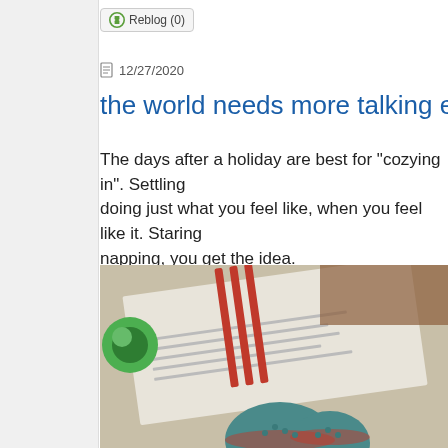Reblog (0)
12/27/2020
the world needs more talking empathic reind
The days after a holiday are best for "cozying in". Settling doing just what you feel like, when you feel like it. Staring napping, you get the idea.
[Figure (photo): Close-up photo of knitted figures, red pencils, and an open book on a wooden surface. A green plastic clip is visible on the left. Teal and red knitted animal figures are in the foreground.]